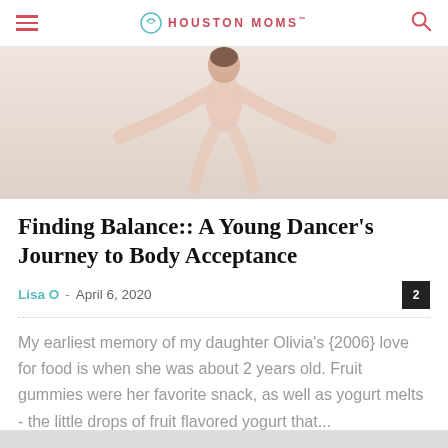HOUSTON MOMS
[Figure (photo): A young dancer or child doing a backbend or handstand pose against a light background, viewed from below/behind.]
Finding Balance:: A Young Dancer's Journey to Body Acceptance
Lisa O · April 6, 2020
My earliest memory of my daughter Olivia's {2006} love for food is when she was about 2 years old.  Fruit gummies were her favorite snack, as well as yogurt melts - the little drops of fruit flavored yogurt that...